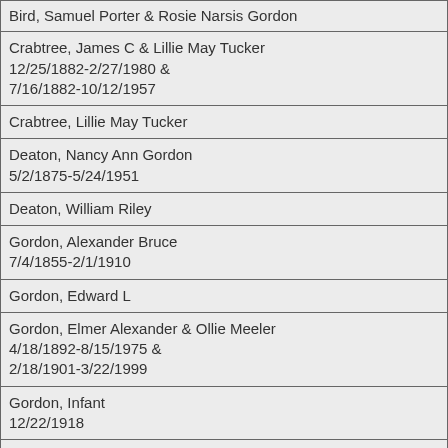| Bird, Samuel Porter & Rosie Narsis Gordon |
| Crabtree, James C & Lillie May Tucker
12/25/1882-2/27/1980 &
7/16/1882-10/12/1957 |
| Crabtree, Lillie May Tucker |
| Deaton, Nancy Ann Gordon
5/2/1875-5/24/1951 |
| Deaton, William Riley |
| Gordon, Alexander Bruce
7/4/1855-2/1/1910 |
| Gordon, Edward L |
| Gordon, Elmer Alexander & Ollie Meeler
4/18/1892-8/15/1975 &
2/18/1901-3/22/1999 |
| Gordon, Infant
12/22/1918 |
| Gordon, Jeanie N
3/7/1892-12/25/1918 |
| Gordon, Melvinia Reed |